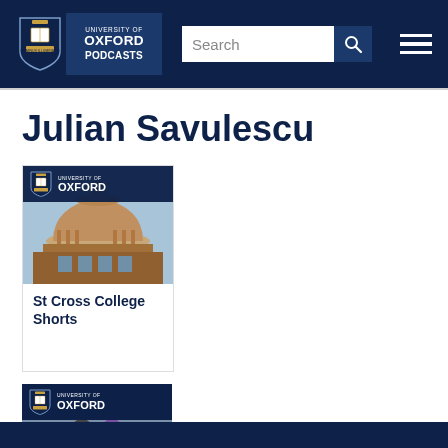University of Oxford Podcasts — navigation bar with search
Julian Savulescu
[Figure (screenshot): University of Oxford Podcasts card showing the Radcliffe Camera building with Oxford badge overlay, labeled 'St Cross College Shorts']
St Cross College Shorts
[Figure (screenshot): Partially visible second University of Oxford Podcasts card at the bottom of the page]